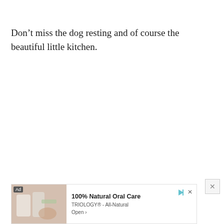Don’t miss the dog resting and of course the beautiful little kitchen.
Check
[Figure (other): Advertisement banner for TRIOLOGY® - All-Natural 100% Natural Oral Care product, showing product bottles and a small ad label, with Open button and close/play controls.]